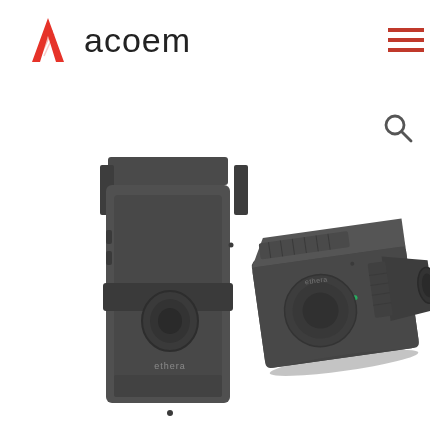acoem
[Figure (photo): Two dark grey/charcoal colored air quality monitoring devices by Ethera/ACOEM. Left device is shown vertically mounted with a wall bracket, rectangular box shape with ventilation grilles and a circular port. Right device is shown at an angle, also a compact rectangular unit with ventilation grilles and a circular sensor port with green indicator lights.]